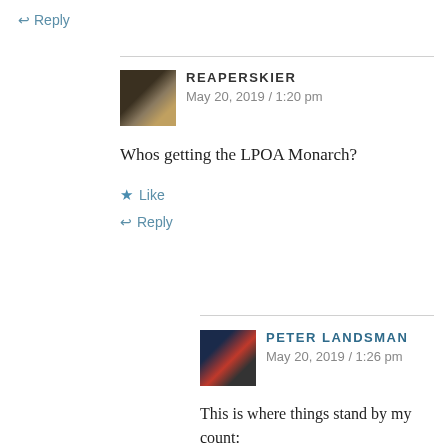↩ Reply
REAPERSKIER
May 20, 2019 / 1:20 pm
Whos getting the LPOA Monarch?
★ Like
↩ Reply
PETER LANDSMAN
May 20, 2019 / 1:26 pm
This is where things stand by my count:
5 Alphas: